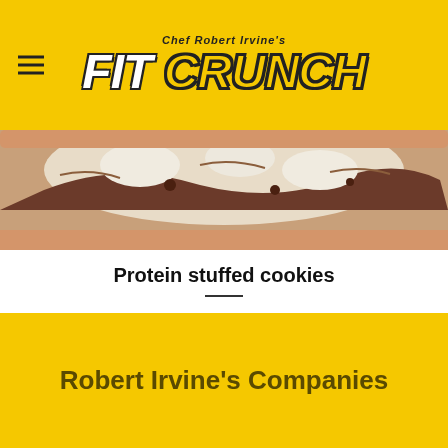Chef Robert Irvine's FIT CRUNCH
[Figure (photo): Close-up photo of a protein stuffed cookie being held, showing layered filling with cream and chocolate.]
Protein stuffed cookies
@fitcrunch Protein cookies hit different🍪🍪#fitcrunch ♪ The sound of love – Mandy & Boots | [...]
Robert Irvine's Companies